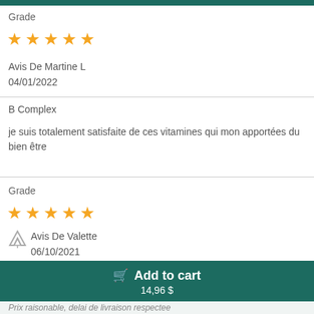Grade
[Figure (other): 5 gold stars rating]
Avis De Martine L
04/01/2022
B Complex
je suis totalement satisfaite de ces vitamines qui mon apportées du bien être
Grade
[Figure (other): 5 gold stars rating]
[Figure (logo): Mountain logo icon (Avis branding)]
Avis De Valette
06/10/2021
Add to cart
14,96 $
Prix raisonable, delai de livraison respectee